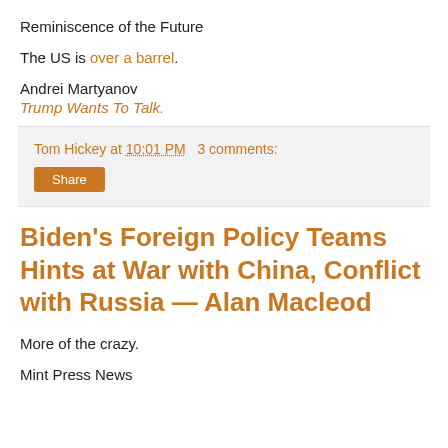Reminiscence of the Future
The US is over a barrel.
Andrei Martyanov
Trump Wants To Talk.
Tom Hickey at 10:01 PM   3 comments:
Share
Biden's Foreign Policy Teams Hints at War with China, Conflict with Russia — Alan Macleod
More of the crazy.
Mint Press News